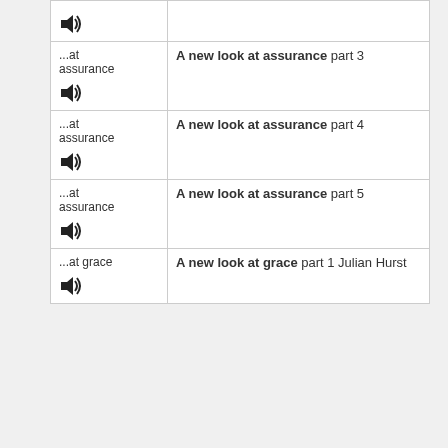| Category | Title |
| --- | --- |
| ...at assurance [speaker icon] | A new look at assurance part 3 |
| ...at assurance [speaker icon] | A new look at assurance part 4 |
| ...at assurance [speaker icon] | A new look at assurance part 5 |
| ...at grace [speaker icon] | A new look at grace part 1 Julian Hurst |